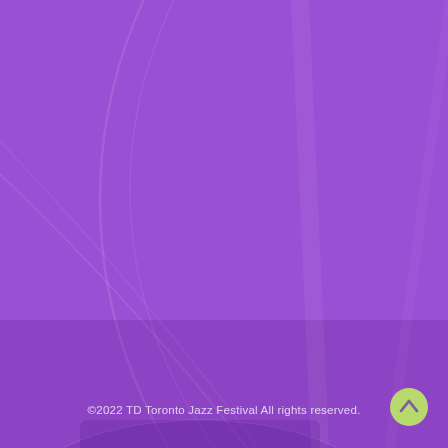[Figure (illustration): Purple-toned background image showing close-up of a drum cymbal or musical instrument with circular shapes and subtle highlights, overlaid with a purple color wash.]
©2022 TD Toronto Jazz Festival All rights reserved.
[Figure (other): Circular button with light green/yellow-green background and an upward-pointing chevron arrow icon, used as a scroll-to-top button.]